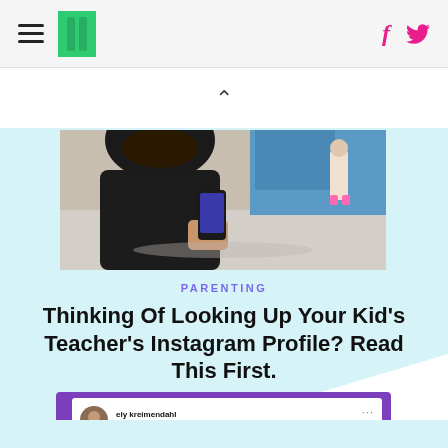HuffPost navigation header with hamburger menu, logo, Facebook and Twitter icons
[Figure (photo): Person holding a smartphone outdoors, viewed from behind/side, wearing a dark jacket]
PARENTING
Thinking Of Looking Up Your Kid's Teacher's Instagram Profile? Read This First.
[Figure (screenshot): Tweet from ely kreimendahl (@ElyKreimendahl)]